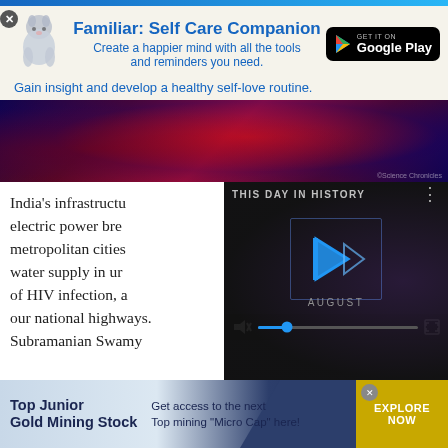[Figure (screenshot): Top blue gradient bar]
[Figure (screenshot): Advertisement banner for Familiar: Self Care Companion app with cat illustration and Google Play button]
[Figure (photo): Abstract red and blue thermal/infrared image used as article header]
India’s infrastructure electric power metropolitan cities water supply of HIV infection, a our national highways. Subramanian Swamy
[Figure (screenshot): Video player overlay showing THIS DAY IN HISTORY with AUGUST label, play button, and video controls]
[Figure (screenshot): Bottom advertisement banner for Top Junior Gold Mining Stock with Explore Now button]